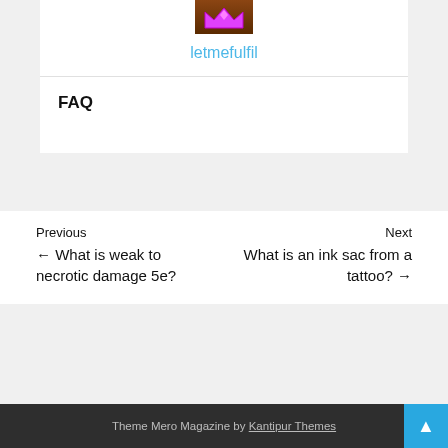[Figure (illustration): Avatar image showing a pixel-art style pink/magenta crown or character icon on a brown/dark background]
letmefulfil
FAQ
Previous ← What is weak to necrotic damage 5e?
Next What is an ink sac from a tattoo? →
Theme Mero Magazine by Kantipur Themes